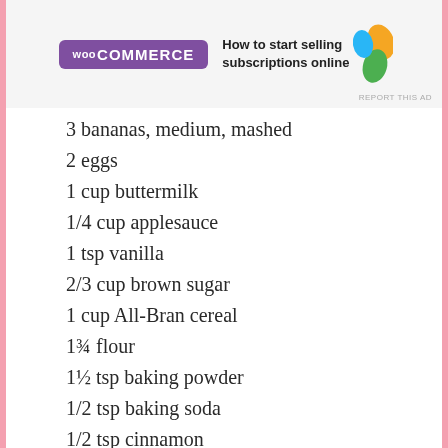[Figure (other): WooCommerce advertisement banner: purple logo with WooCommerce text and tagline 'How to start selling subscriptions online' with colorful leaf/teardrop shapes. REPORT THIS AD text at bottom right.]
3 bananas, medium, mashed
2 eggs
1 cup buttermilk
1/4 cup applesauce
1 tsp vanilla
2/3 cup brown sugar
1 cup All-Bran cereal
1¾ flour
1½ tsp baking powder
1/2 tsp baking soda
1/2 tsp cinnamon
1/4 tsp nutmeg
1/4 tsp salt
1/2 cup mini chocolate chips
3/4 cup chopped pecans